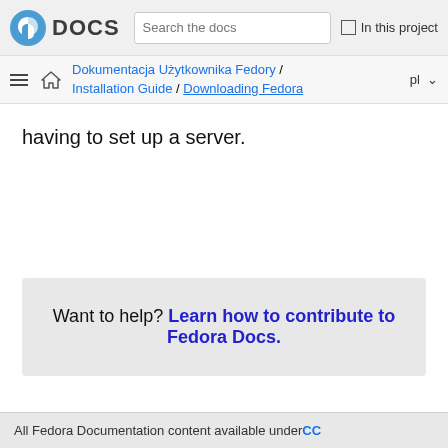DOCS | Search the docs | In this project
Dokumentacja Użytkownika Fedory / Installation Guide / Downloading Fedora | pl
having to set up a server.
Want to help? Learn how to contribute to Fedora Docs.
All Fedora Documentation content available under CC